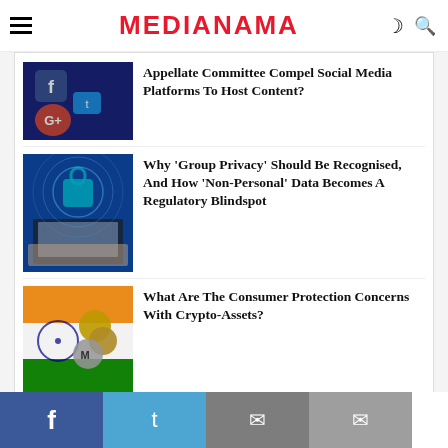MEDIANAMA
[Figure (photo): Social media icons including Facebook, Google+, Twitter on a smartphone screen]
Appellate Committee Compel Social Media Platforms To Host Content?
[Figure (photo): Hands on laptop keyboard with digital padlock and cybersecurity circles overlay]
Why 'Group Privacy' Should Be Recognised, And How 'Non-Personal' Data Becomes A Regulatory Blindspot
[Figure (photo): Indian flag with cryptocurrency coins including Monero]
What Are The Consumer Protection Concerns With Crypto-Assets?
Facebook Twitter WhatsApp Email